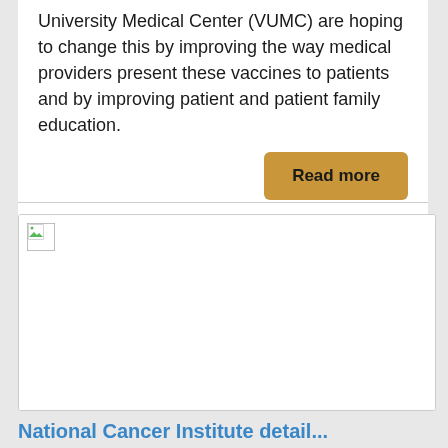University Medical Center (VUMC) are hoping to change this by improving the way medical providers present these vaccines to patients and by improving patient and patient family education.
Read more
[Figure (photo): Broken/unloaded image placeholder with small image icon in top-left corner]
National Cancer Institute detail...